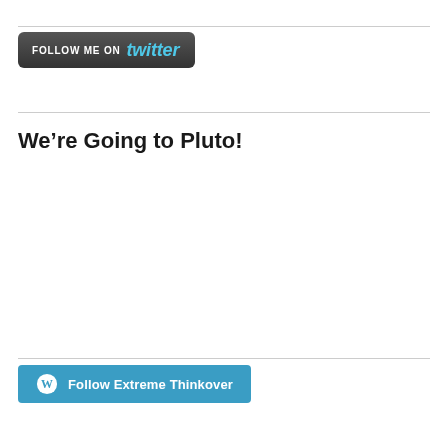[Figure (other): Follow Me on Twitter button with dark gray background and cyan Twitter text]
We're Going to Pluto!
[Figure (other): WordPress Follow Extreme Thinkover button with blue background and WordPress logo]